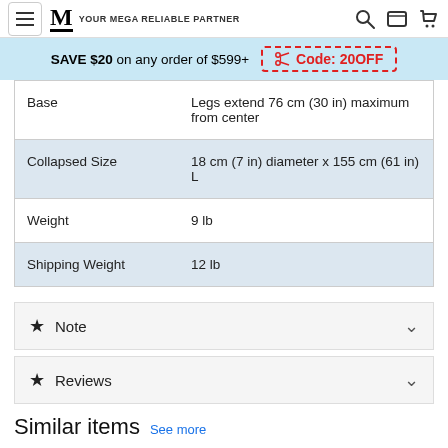YOUR MEGA RELIABLE PARTNER
SAVE $20 on any order of $599+  Code: 20OFF
|  |  |
| --- | --- |
| Base | Legs extend 76 cm (30 in) maximum from center |
| Collapsed Size | 18 cm (7 in) diameter x 155 cm (61 in) L |
| Weight | 9 lb |
| Shipping Weight | 12 lb |
★  Note
★  Reviews
Similar items  See more
[Figure (photo): Two product thumbnail images of tripod/stand items shown in the similar items section at the bottom of the page]